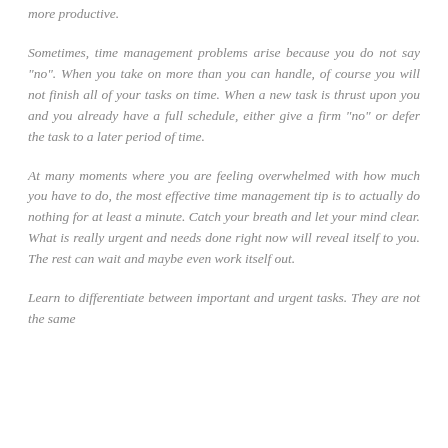more productive.
Sometimes, time management problems arise because you do not say "no". When you take on more than you can handle, of course you will not finish all of your tasks on time. When a new task is thrust upon you and you already have a full schedule, either give a firm "no" or defer the task to a later period of time.
At many moments where you are feeling overwhelmed with how much you have to do, the most effective time management tip is to actually do nothing for at least a minute. Catch your breath and let your mind clear. What is really urgent and needs done right now will reveal itself to you. The rest can wait and maybe even work itself out.
Learn to differentiate between important and urgent tasks. They are not the same